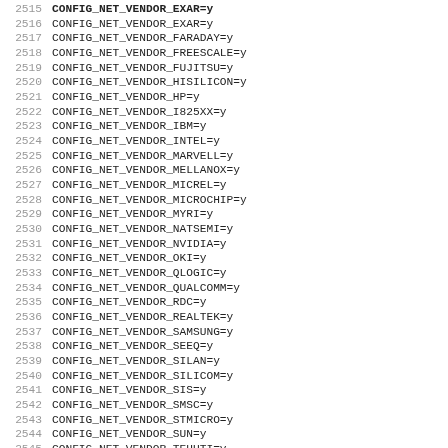2515 CONFIG_NET_VENDOR_EXAR=y (bold/truncated top)
2516 CONFIG_NET_VENDOR_EXAR=y
2517 CONFIG_NET_VENDOR_FARADAY=y
2518 CONFIG_NET_VENDOR_FREESCALE=y
2519 CONFIG_NET_VENDOR_FUJITSU=y
2520 CONFIG_NET_VENDOR_HISILICON=y
2521 CONFIG_NET_VENDOR_HP=y
2522 CONFIG_NET_VENDOR_I825XX=y
2523 CONFIG_NET_VENDOR_IBM=y
2524 CONFIG_NET_VENDOR_INTEL=y
2525 CONFIG_NET_VENDOR_MARVELL=y
2526 CONFIG_NET_VENDOR_MELLANOX=y
2527 CONFIG_NET_VENDOR_MICREL=y
2528 CONFIG_NET_VENDOR_MICROCHIP=y
2529 CONFIG_NET_VENDOR_MYRI=y
2530 CONFIG_NET_VENDOR_NATSEMI=y
2531 CONFIG_NET_VENDOR_NVIDIA=y
2532 CONFIG_NET_VENDOR_OKI=y
2533 CONFIG_NET_VENDOR_QLOGIC=y
2534 CONFIG_NET_VENDOR_QUALCOMM=y
2535 CONFIG_NET_VENDOR_RDC=y
2536 CONFIG_NET_VENDOR_REALTEK=y
2537 CONFIG_NET_VENDOR_SAMSUNG=y
2538 CONFIG_NET_VENDOR_SEEQ=y
2539 CONFIG_NET_VENDOR_SILAN=y
2540 CONFIG_NET_VENDOR_SILICOM=y
2541 CONFIG_NET_VENDOR_SIS=y
2542 CONFIG_NET_VENDOR_SMSC=y
2543 CONFIG_NET_VENDOR_STMICRO=y
2544 CONFIG_NET_VENDOR_SUN=y
2545 CONFIG_NET_VENDOR_TEHUTI=y
2546 CONFIG_NET_VENDOR_TI=y
2547 CONFIG_NET_VENDOR_TOSHIBA=y